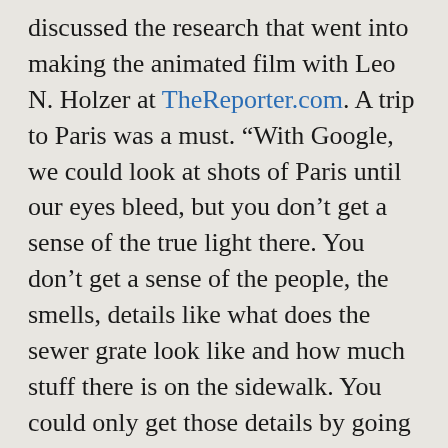discussed the research that went into making the animated film with Leo N. Holzer at TheReporter.com. A trip to Paris was a must. “With Google, we could look at shots of Paris until our eyes bleed, but you don’t get a sense of the true light there. You don’t get a sense of the people, the smells, details like what does the sewer grate look like and how much stuff there is on the sidewalk. You could only get those details by going to these places”. The animators and writers continued their research inside Pixar studios where they kept live rats around and took cooking lessons. “To really observe how rats move, you got to be with them 24/7. To know